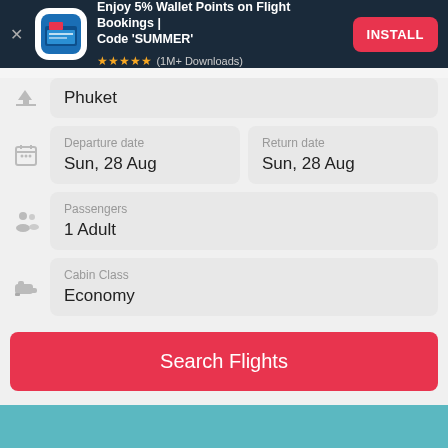[Figure (screenshot): App advertisement banner with dark navy background, app icon, text 'Enjoy 5% Wallet Points on Flight Bookings | Code SUMMER', 5 star rating, 1M+ Downloads, and red INSTALL button]
Phuket
Departure date
Sun, 28 Aug
Return date
Sun, 28 Aug
Passengers
1 Adult
Cabin Class
Economy
Search Flights